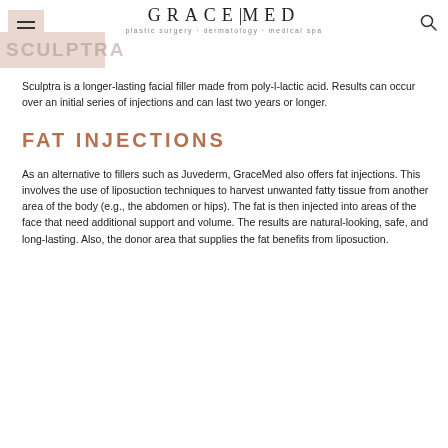GRACE|MED plastic surgery · dermatology · medical spa
Sculptra is a longer-lasting facial filler made from poly-l-lactic acid. Results can occur over an initial series of injections and can last two years or longer.
FAT INJECTIONS
As an alternative to fillers such as Juvederm, GraceMed also offers fat injections. This involves the use of liposuction techniques to harvest unwanted fatty tissue from another area of the body (e.g., the abdomen or hips). The fat is then injected into areas of the face that need additional support and volume. The results are natural-looking, safe, and long-lasting. Also, the donor area that supplies the fat benefits from liposuction.